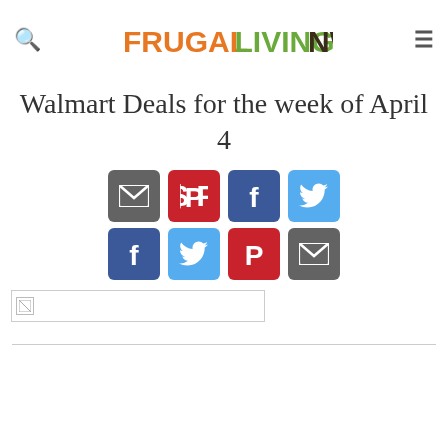FRUGALLIVINGNW
Walmart Deals for the week of April 4
[Figure (other): Row of social media share buttons: email (grey), Pinterest (red), Facebook (blue), Twitter (light blue)]
[Figure (other): Second row of social media share buttons: Facebook (blue), Twitter (light blue), Pinterest (red), email (grey)]
[Figure (other): Broken/loading image placeholder with small icon, white background with border]